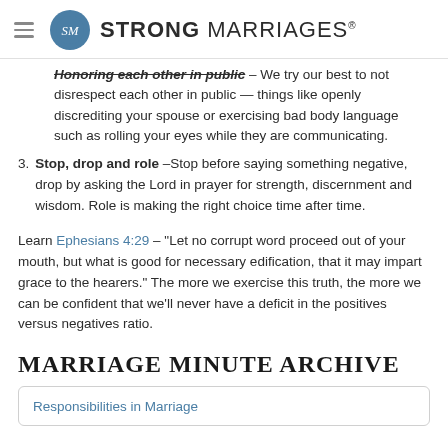STRONG MARRIAGES
Honoring each other in public – We try our best to not disrespect each other in public — things like openly discrediting your spouse or exercising bad body language such as rolling your eyes while they are communicating.
3. Stop, drop and role – Stop before saying something negative, drop by asking the Lord in prayer for strength, discernment and wisdom. Role is making the right choice time after time.
Learn Ephesians 4:29 – "Let no corrupt word proceed out of your mouth, but what is good for necessary edification, that it may impart grace to the hearers." The more we exercise this truth, the more we can be confident that we'll never have a deficit in the positives versus negatives ratio.
MARRIAGE MINUTE ARCHIVE
Responsibilities in Marriage